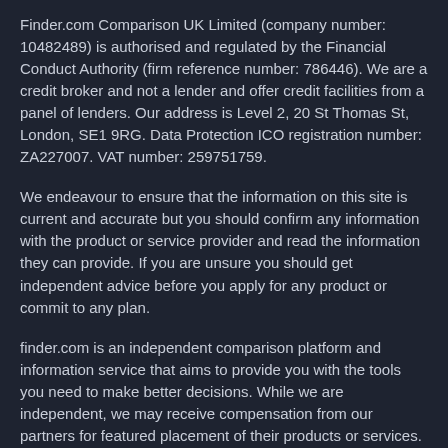Finder.com Comparison UK Limited (company number: 10482489) is authorised and regulated by the Financial Conduct Authority (firm reference number: 786446). We are a credit broker and not a lender and offer credit facilities from a panel of lenders. Our address is Level 2, 20 St Thomas St, London, SE1 9RG. Data Protection ICO registration number: ZA227007. VAT number: 259751759.
We endeavour to ensure that the information on this site is current and accurate but you should confirm any information with the product or service provider and read the information they can provide. If you are unsure you should get independent advice before you apply for any product or commit to any plan.
finder.com is an independent comparison platform and information service that aims to provide you with the tools you need to make better decisions. While we are independent, we may receive compensation from our partners for featured placement of their products or services. We may also receive compensation if you click on certain links posted on our site.